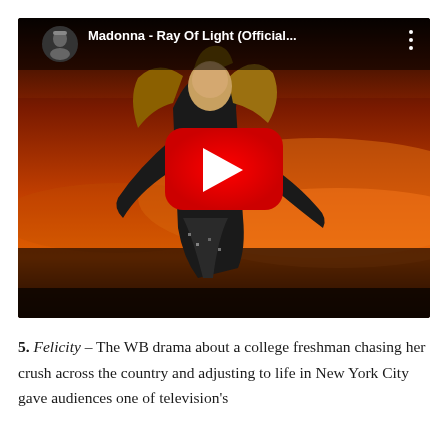[Figure (screenshot): YouTube video thumbnail for Madonna - Ray Of Light (Official...) showing Madonna dancing against an orange/sunset sky background, with a red YouTube play button overlay, and a small channel avatar in the top left corner with the video title text.]
5. Felicity – The WB drama about a college freshman chasing her crush across the country and adjusting to life in New York City gave audiences one of television's